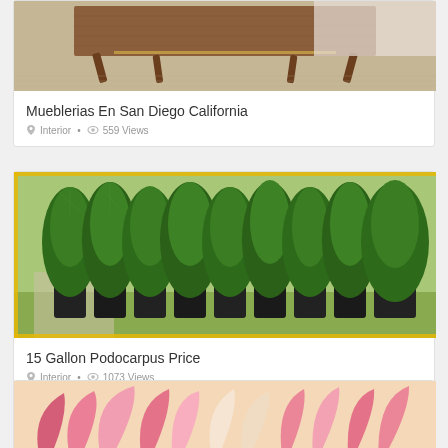[Figure (photo): Photo of a wooden mid-century modern coffee table on a beige rug with a couch in the background.]
Mueblerias En San Diego California
Interior • 559 Views
[Figure (photo): Photo of tall green podocarpus plants in black plastic nursery pots arranged in a row outdoors.]
15 Gallon Podocarpus Price
Interior • 1073 Views
[Figure (photo): Partially visible photo with pink and peach floral/fan patterns.]